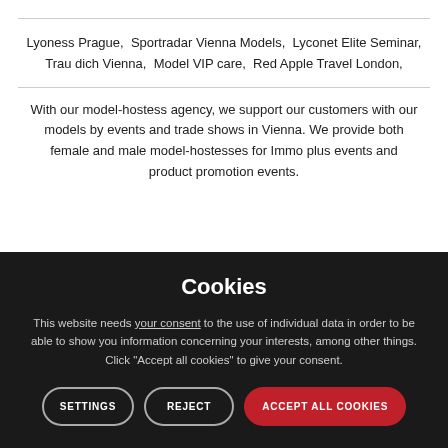Lyoness Prague,  Sportradar Vienna Models,  Lyconet Elite Seminar,  Trau dich Vienna,  Model VIP care,  Red Apple Travel London,
With our model-hostess agency, we support our customers with our models by events and trade shows in Vienna. We provide both female and male model-hostesses for Immo plus events and product promotion events.
Cookies
This website needs your consent to the use of individual data in order to be able to show you information concerning your interests, among other things. Click "Accept all cookies" to give your consent.
SETTINGS | REJECT | ACCEPT ALL COOKIES